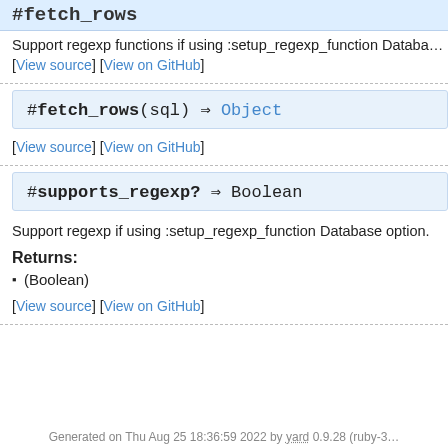Support regexp functions if using :setup_regexp_function Databa…
[View source] [View on GitHub]
#fetch_rows(sql) ⇒ Object
[View source] [View on GitHub]
#supports_regexp? ⇒ Boolean
Support regexp if using :setup_regexp_function Database option.
Returns:
(Boolean)
[View source] [View on GitHub]
Generated on Thu Aug 25 18:36:59 2022 by yard 0.9.28 (ruby-3…